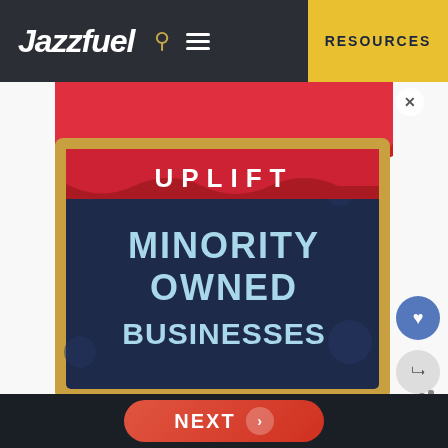Jazzfuel | RESOURCES
[Figure (illustration): Advertisement for 'Uplift Minority Owned Businesses' showing a colorful storefront with red and white striped awning, red banner reading 'UPLIFT', and a chalkboard sign with 'MINORITY OWNED BUSINESSES' in light blue text on dark blue background.]
This, however, was augmented by timpani, gongs, temple blocks, tuned percussion and tubular bells, making the availab... arrangement...
NEXT